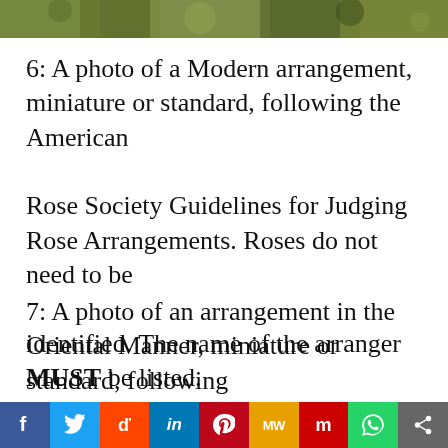[Figure (photo): Top strip photo of foliage/plants with blurred green and brown tones]
6: A photo of a Modern arrangement, miniature or standard, following the American Rose Society Guidelines for Judging Rose Arrangements. Roses do not need to be identified. The name of the arranger MUST be listed.
7: A photo of an arrangement in the Oriental Manner, miniature or standard, following
[Figure (infographic): Social sharing bar with icons for Facebook, Twitter, Reddit, LinkedIn, Pinterest, MeWe, Mix, WhatsApp, Share]